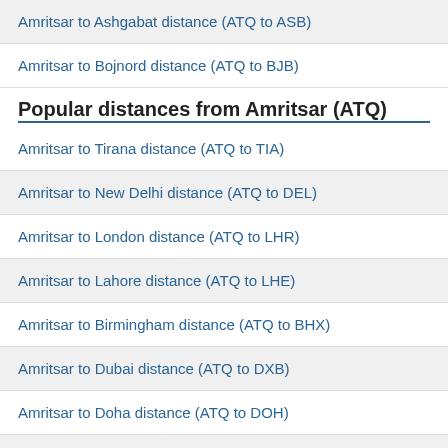Amritsar to Ashgabat distance (ATQ to ASB)
Amritsar to Bojnord distance (ATQ to BJB)
Popular distances from Amritsar (ATQ)
Amritsar to Tirana distance (ATQ to TIA)
Amritsar to New Delhi distance (ATQ to DEL)
Amritsar to London distance (ATQ to LHR)
Amritsar to Lahore distance (ATQ to LHE)
Amritsar to Birmingham distance (ATQ to BHX)
Amritsar to Dubai distance (ATQ to DXB)
Amritsar to Doha distance (ATQ to DOH)
Amritsar to Chandigarh distance (ATQ to IXC)